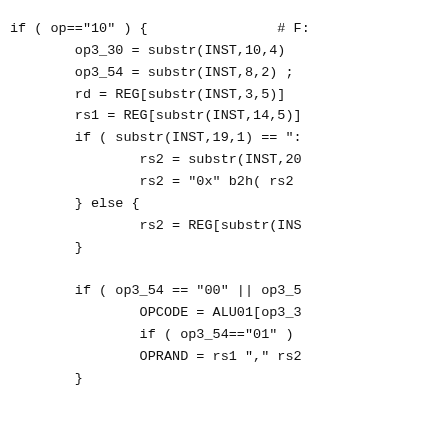if ( op=="10" ) {                # F:
        op3_30 = substr(INST,10,4)
        op3_54 = substr(INST,8,2) ;
        rd = REG[substr(INST,3,5)]
        rs1 = REG[substr(INST,14,5)]
        if ( substr(INST,19,1) == ":
                rs2 = substr(INST,20
                rs2 = "0x" b2h( rs2
        } else {
                rs2 = REG[substr(INS
        }

        if ( op3_54 == "00" || op3_5
                OPCODE = ALU01[op3_3
                if ( op3_54=="01" )
                OPRAND = rs1 "," rs2
        }